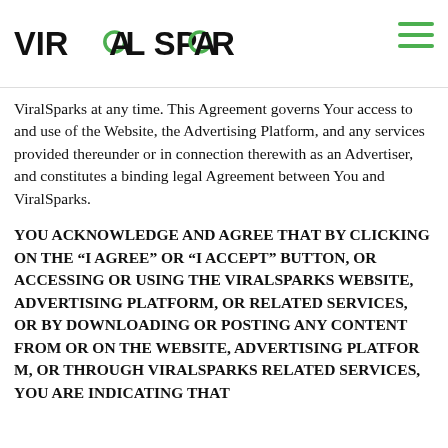VIRAL SPARKS
ViralSparks at any time. This Agreement governs Your access to and use of the Website, the Advertising Platform, and any services provided thereunder or in connection therewith as an Advertiser, and constitutes a binding legal Agreement between You and ViralSparks.
YOU ACKNOWLEDGE AND AGREE THAT BY CLICKING ON THE “I AGREE” OR “I ACCEPT” BUTTON, OR ACCESSING OR USING THE VIRALSPARKS WEBSITE, ADVERTISING PLATFORM, OR RELATED SERVICES, OR BY DOWNLOADING OR POSTING ANY CONTENT FROM OR ON THE WEBSITE, ADVERTISING PLATFORM, OR THROUGH VIRALSPARKS RELATED SERVICES, YOU ARE INDICATING THAT